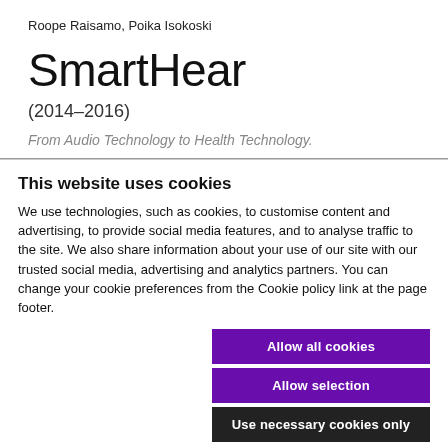Roope Raisamo, Poika Isokoski
SmartHear
(2014–2016)
From Audio Technology to Health Technology.
This website uses cookies
We use technologies, such as cookies, to customise content and advertising, to provide social media features, and to analyse traffic to the site. We also share information about your use of our site with our trusted social media, advertising and analytics partners. You can change your cookie preferences from the Cookie policy link at the page footer.
Allow all cookies
Allow selection
Use necessary cookies only
Necessary  Preferences  Statistics  Marketing  Show details